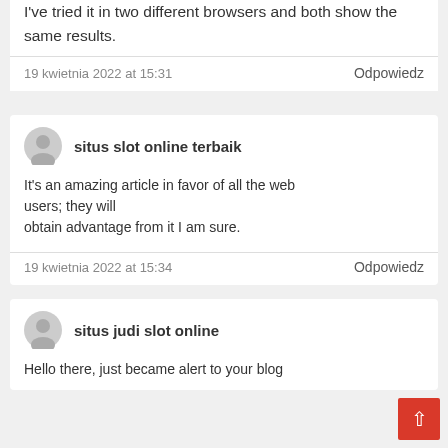I've tried it in two different browsers and both show the same results.
19 kwietnia 2022 at 15:31
Odpowiedz
situs slot online terbaik
It's an amazing article in favor of all the web users; they will obtain advantage from it I am sure.
19 kwietnia 2022 at 15:34
Odpowiedz
situs judi slot online
Hello there, just became alert to your blog